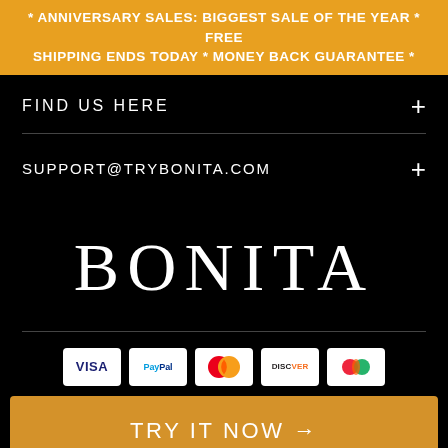* ANNIVERSARY SALES: BIGGEST SALE OF THE YEAR * FREE SHIPPING ENDS TODAY * MONEY BACK GUARANTEE *
FIND US HERE
SUPPORT@TRYBONITA.COM
BONITA
[Figure (other): Payment method icons: VISA, PayPal, MasterCard, Discover, and one more card]
TRY IT NOW →